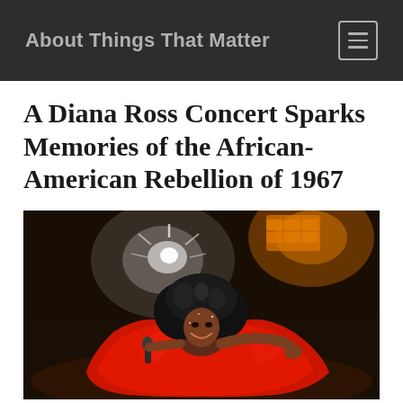About Things That Matter
A Diana Ross Concert Sparks Memories of the African-American Rebellion of 1967
[Figure (photo): Diana Ross performing on stage, wearing a large red dress/cape, holding a microphone, with bright stage lights including a white spotlight and orange/amber lights in the background. She is smiling and has voluminous curly dark hair.]